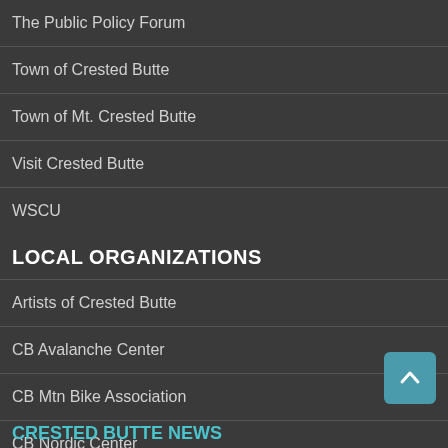The Public Policy Forum
Town of Crested Butte
Town of Mt. Crested Butte
Visit Crested Butte
WSCU
LOCAL ORGANIZATIONS
Artists of Crested Butte
CB Avalanche Center
CB Mtn Bike Association
CB Nordic Center
Center for the Arts
Old Rock Library
Tourism Association
CRESTED BUTTE NEWS